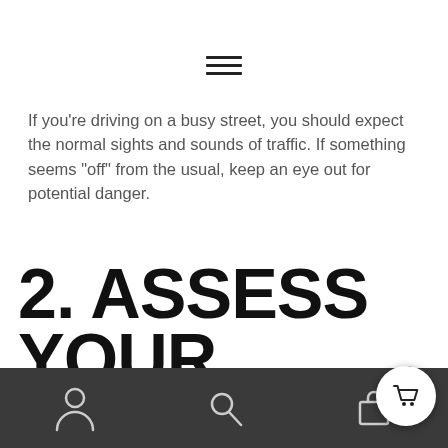[Figure (other): Hamburger menu icon (three horizontal lines)]
If you’re driving on a busy street, you should expect the normal sights and sounds of traffic. If something seems “off” from the usual, keep an eye out for potential danger.
2. Assess Your Surroundings For Potential Threats
[Figure (other): Mobile app bottom navigation bar with user icon, search icon, bag icon, and floating basket button with badge showing 0]